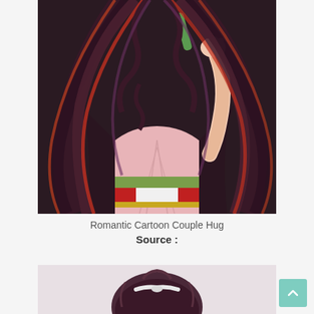[Figure (illustration): Anime illustration of a female character with long dark flowing hair streaked with red/purple highlights, wearing a pink kimono with green and red obi belt, holding a green bamboo flute to her lips. The image is cropped to show upper body and hair.]
Romantic Cartoon Couple Hug
Source :
[Figure (illustration): Partial view of another anime illustration at the bottom of the page, showing the top of a character's head with dark hair and a white ribbon/accessory.]